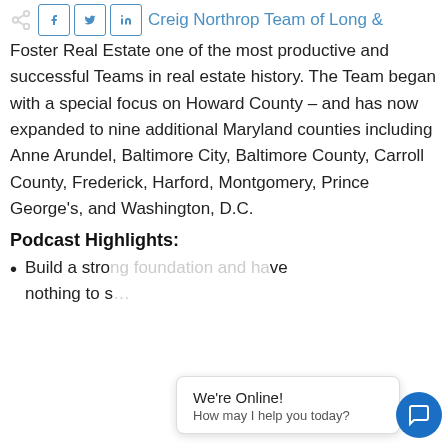[Figure (other): Social share icons: share icon, Facebook, Twitter, LinkedIn buttons]
Creig Northrop Team of Long & Foster Real Estate one of the most productive and successful Teams in real estate history. The Team began with a special focus on Howard County – and has now expanded to nine additional Maryland counties including Anne Arundel, Baltimore City, Baltimore County, Carroll County, Frederick, Harford, Montgomery, Prince George's, and Washington, D.C.
Podcast Highlights:
Build a strong foundation and have nothing to s…
[Figure (other): Chat popup widget: 'We're Online! How may I help you today?' with blue chat circle button]